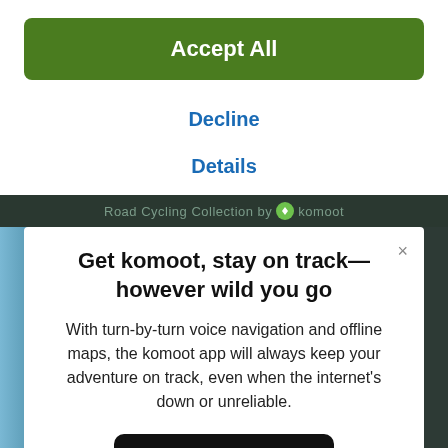Accept All
Decline
Details
Road Cycling Collection by komoot
Get komoot, stay on track—however wild you go
With turn-by-turn voice navigation and offline maps, the komoot app will always keep your adventure on track, even when the internet's down or unreliable.
[Figure (screenshot): Download on the App Store button (black rounded rectangle with Apple logo)]